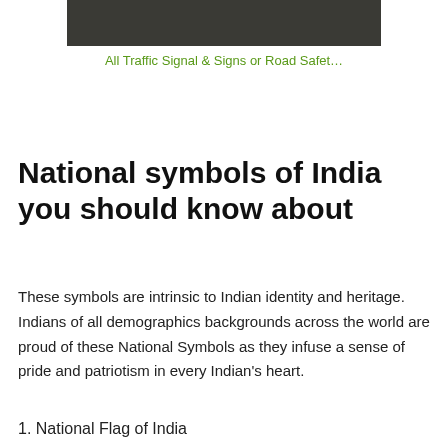[Figure (photo): Dark gray/charcoal colored image block at top of page, partially cropped]
All Traffic Signal & Signs or Road Safet…
National symbols of India you should know about
These symbols are intrinsic to Indian identity and heritage. Indians of all demographics backgrounds across the world are proud of these National Symbols as they infuse a sense of pride and patriotism in every Indian's heart.
1. National Flag of India